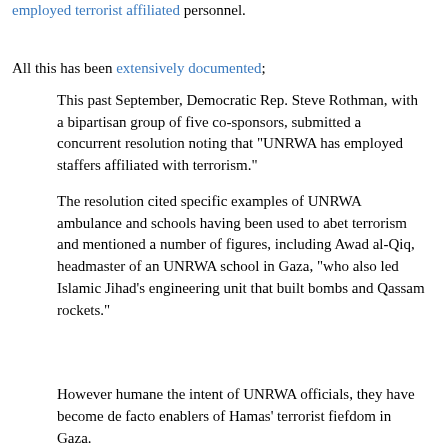employed terrorist affiliated personnel.
All this has been extensively documented;
This past September, Democratic Rep. Steve Rothman, with a bipartisan group of five co-sponsors, submitted a concurrent resolution noting that "UNRWA has employed staffers affiliated with terrorism."
The resolution cited specific examples of UNRWA ambulance and schools having been used to abet terrorism and mentioned a number of figures, including Awad al-Qiq, headmaster of an UNRWA school in Gaza, "who also led Islamic Jihad's engineering unit that built bombs and Qassam rockets."
However humane the intent of UNRWA officials, they have become de facto enablers of Hamas' terrorist fiefdom in Gaza.